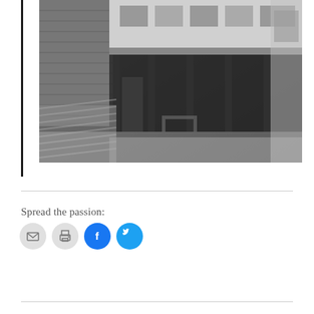[Figure (photo): Black and white photograph of an old multi-story building with brick and wood construction, featuring a covered walkway/porch with columns, corrugated metal roofing on the left side, and a dirt road or ground in the foreground.]
Spread the passion:
[Figure (infographic): Four social sharing icon buttons in a row: email (envelope icon, gray), print (printer icon, gray), Facebook (f icon, blue), Twitter (bird icon, light blue)]